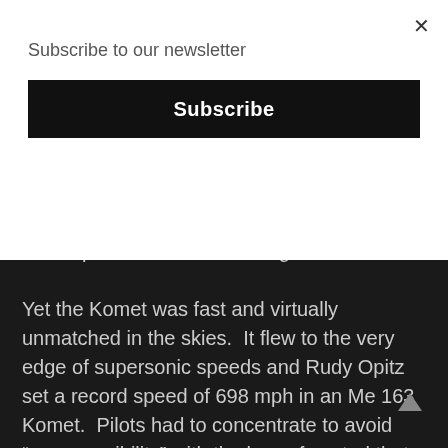Subscribe to our newsletter
Subscribe
and ground controller headings to bring the interceptor aircraft to their targets.
Yet the Komet was fast and virtually unmatched in the skies.  It flew to the very edge of supersonic speeds and Rudy Opitz set a record speed of 698 mph in an Me 163 Komet.  Pilots had to concentrate to avoid “compressibility” with the loss of control that could result with power on in anything less than a steep climb.  It wasn’t